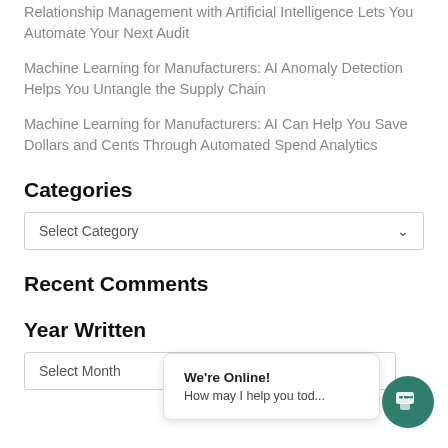Relationship Management with Artificial Intelligence Lets You Automate Your Next Audit
Machine Learning for Manufacturers: AI Anomaly Detection Helps You Untangle the Supply Chain
Machine Learning for Manufacturers: AI Can Help You Save Dollars and Cents Through Automated Spend Analytics
Categories
Select Category
Recent Comments
Year Written
Select Month
We're Online! How may I help you tod...